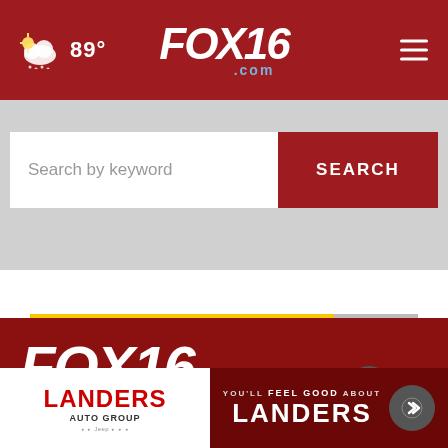FOX16.com — 89° weather, navigation header
[Figure (screenshot): Search by keyword input box with red SEARCH button]
[Figure (screenshot): Shorter College advertisement banner with yellow background, college logo, and Apply Today button]
[Figure (logo): FOX16.com logo in white on dark red background]
FOX16 local news and sports for Arkansas
[Figure (screenshot): Landers Auto Group advertisement overlay at bottom of page with YOU'LL FEEL GOOD ABOUT LANDERS text]